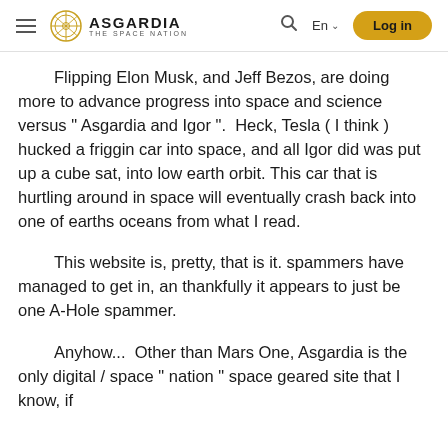ASGARDIA THE SPACE NATION | En | Log in
Flipping Elon Musk, and Jeff Bezos, are doing more to advance progress into space and science versus " Asgardia and Igor ".  Heck, Tesla ( I think ) hucked a friggin car into space, and all Igor did was put up a cube sat, into low earth orbit. This car that is hurtling around in space will eventually crash back into one of earths oceans from what I read.
This website is, pretty, that is it. spammers have managed to get in, an thankfully it appears to just be one A-Hole spammer.
Anyhow...  Other than Mars One, Asgardia is the only digital / space " nation " space geared site that I know, if